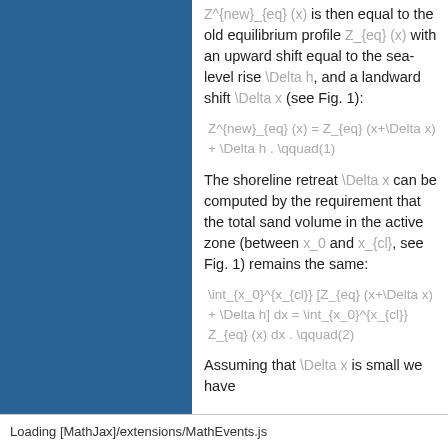Z^{new}_{eq} (x) is then equal to the old equilibrium profile Z_{eq} (x) with an upward shift equal to the sea-level rise \Delta h, and a landward shift \Delta x (see Fig. 1):
The shoreline retreat \Delta x can be computed by the requirement that the total sand volume in the active zone (between x_0 and x_{cl}, see Fig. 1) remains the same:
Assuming that \Delta x is small we have
Loading [MathJax]/extensions/MathEvents.js